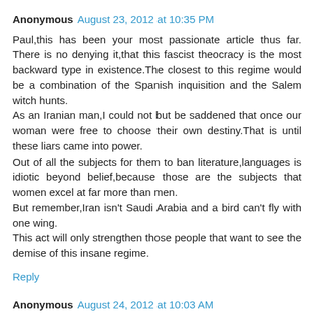Anonymous  August 23, 2012 at 10:35 PM
Paul,this has been your most passionate article thus far. There is no denying it,that this fascist theocracy is the most backward type in existence.The closest to this regime would be a combination of the Spanish inquisition and the Salem witch hunts.
As an Iranian man,I could not but be saddened that once our woman were free to choose their own destiny.That is until these liars came into power.
Out of all the subjects for them to ban literature,languages is idiotic beyond belief,because those are the subjects that women excel at far more than men.
But remember,Iran isn't Saudi Arabia and a bird can't fly with one wing.
This act will only strengthen those people that want to see the demise of this insane regime.
Reply
Anonymous  August 24, 2012 at 10:03 AM